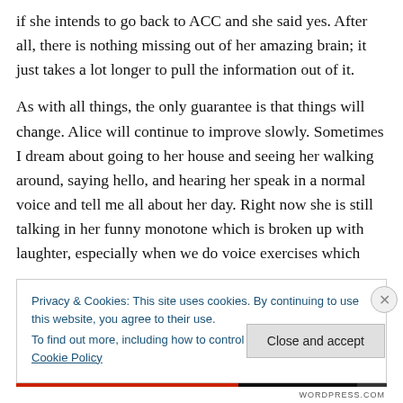if she intends to go back to ACC and she said yes. After all, there is nothing missing out of her amazing brain; it just takes a lot longer to pull the information out of it.
As with all things, the only guarantee is that things will change. Alice will continue to improve slowly. Sometimes I dream about going to her house and seeing her walking around, saying hello, and hearing her speak in a normal voice and tell me all about her day. Right now she is still talking in her funny monotone which is broken up with laughter, especially when we do voice exercises which
Privacy & Cookies: This site uses cookies. By continuing to use this website, you agree to their use.
To find out more, including how to control cookies, see here: Cookie Policy
Close and accept